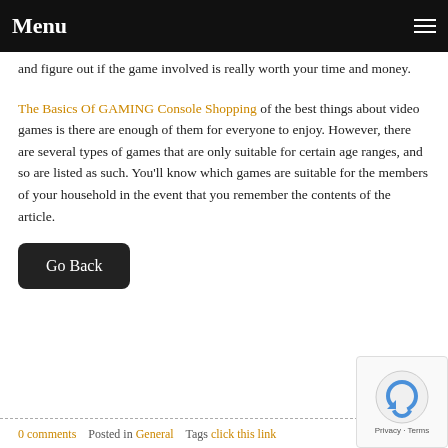Menu
and figure out if the game involved is really worth your time and money.
The Basics Of GAMING Console Shopping of the best things about video games is there are enough of them for everyone to enjoy. However, there are several types of games that are only suitable for certain age ranges, and so are listed as such. You'll know which games are suitable for the members of your household in the event that you remember the contents of the article.
Go Back
0 comments   Posted in General   Tags click this link